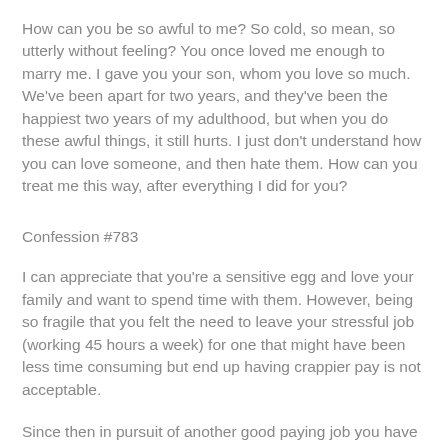How can you be so awful to me? So cold, so mean, so utterly without feeling? You once loved me enough to marry me. I gave you your son, whom you love so much. We've been apart for two years, and they've been the happiest two years of my adulthood, but when you do these awful things, it still hurts. I just don't understand how you can love someone, and then hate them. How can you treat me this way, after everything I did for you?
Confession #783
I can appreciate that you're a sensitive egg and love your family and want to spend time with them. However, being so fragile that you felt the need to leave your stressful job (working 45 hours a week) for one that might have been less time consuming but end up having crappier pay is not acceptable.
Since then in pursuit of another good paying job you have now been home with our daughter for 7 weeks (and will